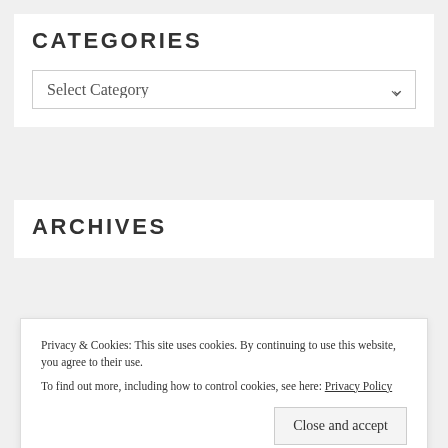CATEGORIES
Select Category
ARCHIVES
Privacy & Cookies: This site uses cookies. By continuing to use this website, you agree to their use.
To find out more, including how to control cookies, see here: Privacy Policy
Close and accept